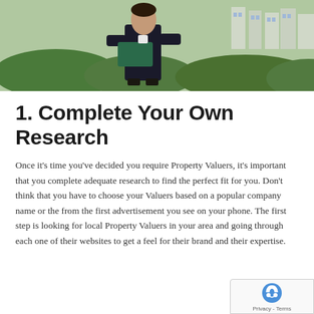[Figure (photo): A person in a dark business suit holding a green folder/binder, standing outdoors with green hedges and houses in the background.]
1. Complete Your Own Research
Once it's time you've decided you require Property Valuers, it's important that you complete adequate research to find the perfect fit for you. Don't think that you have to choose your Valuers based on a popular company name or the from the first advertisement you see on your phone. The first step is looking for local Property Valuers in your area and going through each one of their websites to get a feel for their brand and their expertise.